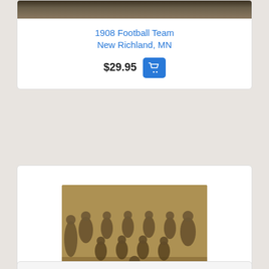[Figure (photo): Partial view of a vintage sepia football team photo at the top of the page (1908 Football Team, New Richland, MN)]
1908 Football Team
New Richland, MN
$29.95
[Figure (photo): Vintage sepia photograph of a football team posing in front of a brick building. One player in the front holds a banner reading 'CHS'. Camden High School Football team, Camden, NJ.]
Camden High School Football...
Camden, NJ
$29.95
[Figure (photo): Partial view of another product card at the bottom of the page.]